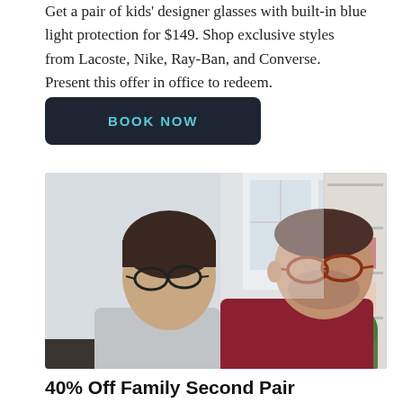Get a pair of kids' designer glasses with built-in blue light protection for $149. Shop exclusive styles from Lacoste, Nike, Ray-Ban, and Converse. Present this offer in office to redeem.
Book Now
[Figure (photo): A man and a boy, both wearing glasses, sitting together indoors. The boy wears a grey long-sleeve shirt and glasses; the man wears a dark red/maroon checkered shirt and glasses. Bookshelves are visible in the background.]
40% Off Family Second Pair
Shop our wide selection of designer frames and get